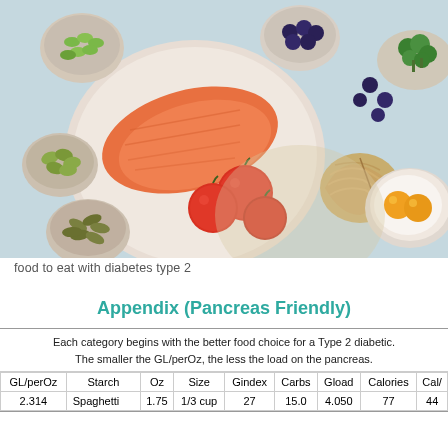[Figure (photo): Overhead flat-lay photo of healthy foods including salmon on a plate, tomatoes, edamame, pistachios, pumpkin seeds, blueberries, broccoli, pasta nests, and two eggs cracked in a bowl, arranged on a light blue background.]
food to eat with diabetes type 2
Appendix (Pancreas Friendly)
| GL/perOz | Starch | Oz | Size | Gindex | Carbs | Gload | Calories | Cal/ |
| --- | --- | --- | --- | --- | --- | --- | --- | --- |
| 2.314 | Spaghetti | 1.75 | 1/3 cup | 27 | 15.0 | 4.050 | 77 | 44 |